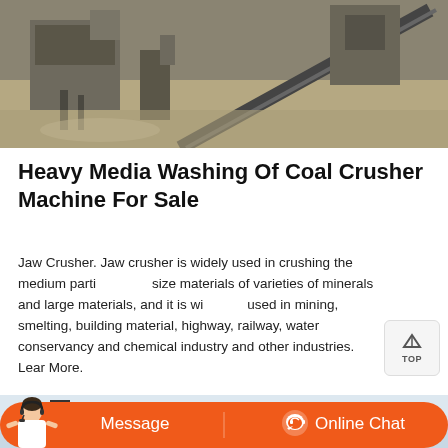[Figure (photo): Aerial view of a coal crushing/mining plant facility with conveyor belts, industrial machinery, and construction structures on a sandy ground.]
Heavy Media Washing Of Coal Crusher Machine For Sale
Jaw Crusher. Jaw crusher is widely used in crushing the medium particle size materials of varieties of minerals and large materials, and it is widely used in mining, smelting, building material, highway, railway, water conservancy and chemical industry and other industries. Lear More.
[Figure (photo): Partial view of a coal crushing machine/industrial equipment against a light sky background.]
[Figure (infographic): Orange rounded bar with 'Message' button on left and 'Online Chat' button on right with headset icon, and a customer service person image on far left.]